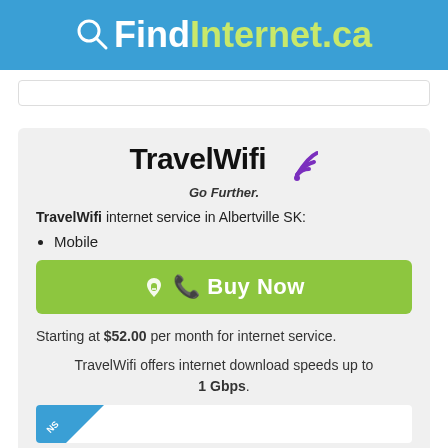QFindInternet.ca
[Figure (logo): TravelWifi logo with purple wifi icon and tagline Go Further.]
TravelWifi internet service in Albertville SK:
Mobile
Buy Now
Starting at $52.00 per month for internet service.
TravelWifi offers internet download speeds up to 1 Gbps.